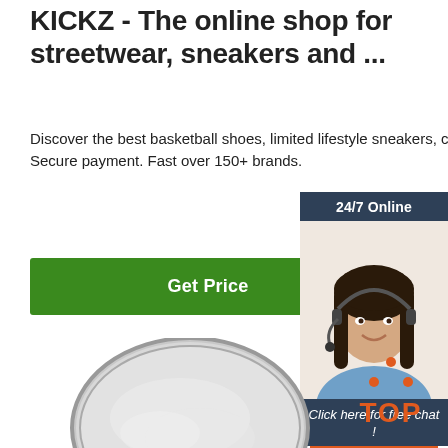KICKZ - The online shop for streetwear, sneakers and ...
Discover the best basketball shoes, limited lifestyle sneakers, caps and more now! Secure payment. Fast over 150+ brands.
Get Price
[Figure (photo): Customer service agent widget with '24/7 Online' header, agent photo, 'Click here for free chat!' text, and orange QUOTATION button]
[Figure (photo): Round bowl or plate containing white/light gray powder substance]
[Figure (logo): Orange TOP logo with dot triangle above the word TOP]